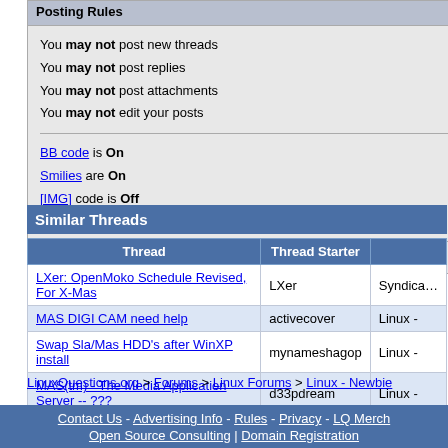Posting Rules
You may not post new threads
You may not post replies
You may not post attachments
You may not edit your posts
BB code is On
Smilies are On
[IMG] code is Off
HTML code is Off
Forum Rules
Similar Threads
| Thread | Thread Starter |  |
| --- | --- | --- |
| LXer: OpenMoko Schedule Revised, For X-Mas | LXer | Syndica… |
| MAS DIGI CAM need help | activecover | Linux - |
| Swap Sla/Mas HDD's after WinXP install | mynameshagop | Linux - |
| MAS(tm) - The Media Application Server -- ??? | d33pdream | Linux - |
LinuxQuestions.org > Forums > Linux Forums > Linux - Newbie
All times are GMT -5. The time now is
Contact Us - Advertising Info - Rules - Privacy - LQ Merch
Open Source Consulting | Domain Registration